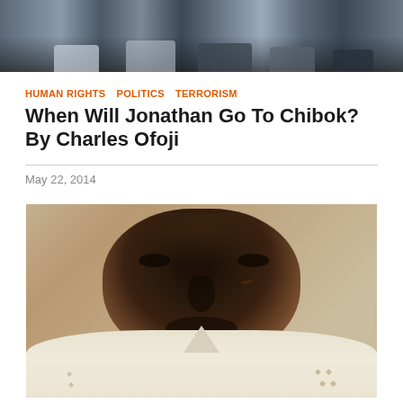[Figure (photo): Group of people photographed at top of article, partially visible, cropped]
HUMAN RIGHTS   POLITICS   TERRORISM
When Will Jonathan Go To Chibok? By Charles Ofoji
May 22, 2014
[Figure (photo): Close-up portrait of a Black man looking slightly to the side, wearing a white/cream patterned traditional shirt]